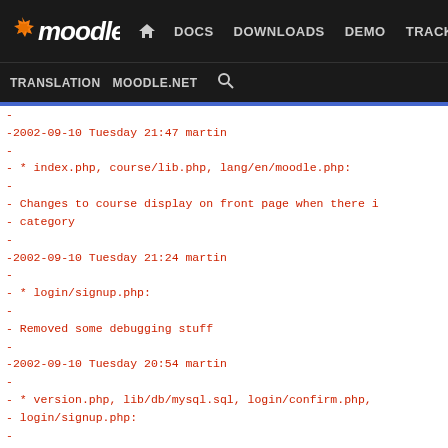[Figure (screenshot): Moodle developer site navigation bar with logo, DOCS, DOWNLOADS, DEMO, TRACKER, DEV links, and TRANSLATION, MOODLE.NET, search links]
- -2002-09-10 Tuesday 21:47  martin - -         * index.php, course/lib.php, lang/en/moodle.php: - -         Changes to course display on front page when there i - -         category - -2002-09-10 Tuesday 21:24  martin - -         * login/signup.php: - -         Removed some debugging stuff - -2002-09-10 Tuesday 20:54  martin - -         * version.php, lib/db/mysql.sql, login/confirm.php, - -         login/signup.php: - -         More security for email confirmation process ... a 1 - -         random "secret" key is stored the user record on acc - -         sent via email and checked again during confirmation - -2002-09-10 Tuesday 11:44  martin - -         * CHANGES: